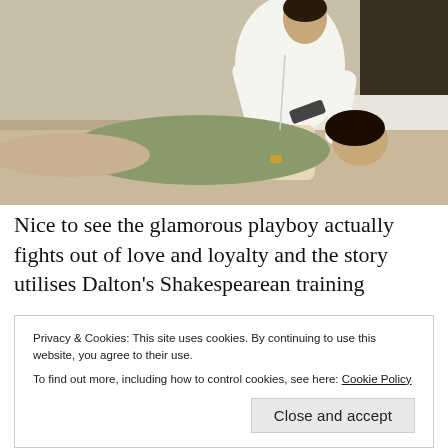[Figure (photo): A man in a white shirt leans over a woman lying on a bed. The man holds a gun and appears to be in a confrontational pose. The woman is wearing an olive-colored outfit and is lying on white pillows. Scene appears to be from a film.]
Nice to see the glamorous playboy actually fights out of love and loyalty and the story utilises Dalton's Shakespearean training
Privacy & Cookies: This site uses cookies. By continuing to use this website, you agree to their use.
To find out more, including how to control cookies, see here: Cookie Policy
Close and accept
side to him that is both intimidating and sexy